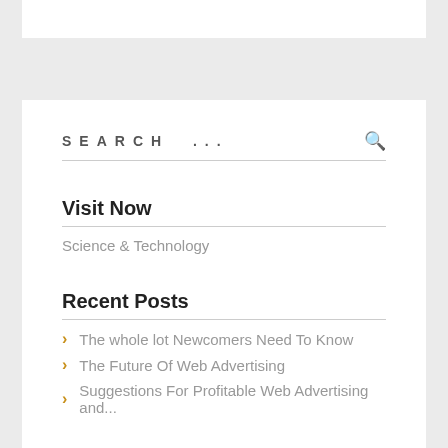SEARCH ...
Visit Now
Science & Technology
Recent Posts
The whole lot Newcomers Need To Know
The Future Of Web Advertising
Suggestions For Profitable Web Advertising and...